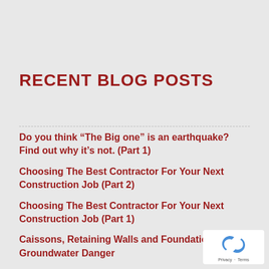RECENT BLOG POSTS
Do you think “The Big one” is an earthquake? Find out why it’s not. (Part 1)
Choosing The Best Contractor For Your Next Construction Job (Part 2)
Choosing The Best Contractor For Your Next Construction Job (Part 1)
Caissons, Retaining Walls and Foundations Groundwater Danger